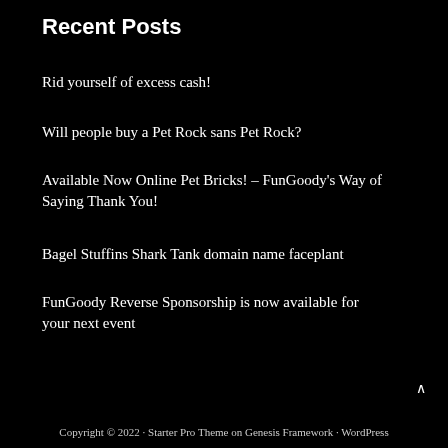Recent Posts
Rid yourself of excess cash!
Will people buy a Pet Rock sans Pet Rock?
Available Now Online Pet Bricks! – FunGoody's Way of Saying Thank You!
Bagel Stuffins Shark Tank domain name faceplant
FunGoody Reverse Sponsorship is now available for your next event
Copyright © 2022 · Starter Pro Theme on Genesis Framework · WordPress